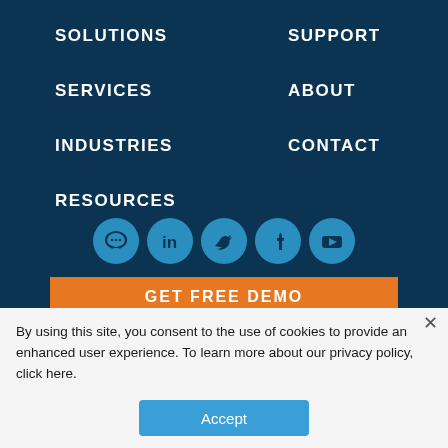SOLUTIONS
SUPPORT
SERVICES
ABOUT
INDUSTRIES
CONTACT
RESOURCES
[Figure (infographic): Row of 5 social media icon circles: chat/messaging, LinkedIn, Twitter, Facebook, YouTube]
GET FREE DEMO
By using this site, you consent to the use of cookies to provide an enhanced user experience. To learn more about our privacy policy, click here.
Accept